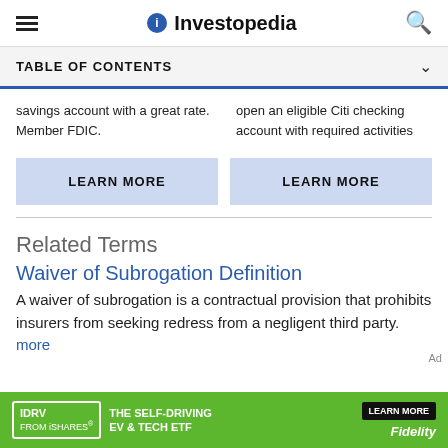Investopedia
TABLE OF CONTENTS
savings account with a great rate. Member FDIC.
open an eligible Citi checking account with required activities
LEARN MORE
LEARN MORE
Related Terms
Waiver of Subrogation Definition
A waiver of subrogation is a contractual provision that prohibits insurers from seeking redress from a negligent third party. more
[Figure (other): Advertisement banner: IDRV FROM iSHARES - THE SELF-DRIVING EV & TECH ETF - LEARN MORE - Fidelity]